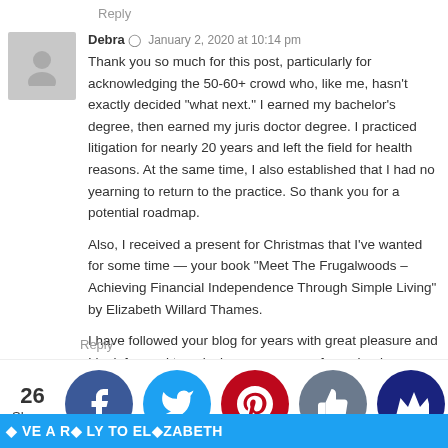Reply
Debra  January 2, 2020 at 10:14 pm
Thank you so much for this post, particularly for acknowledging the 50-60+ crowd who, like me, hasn't exactly decided "what next." I earned my bachelor's degree, then earned my juris doctor degree. I practiced litigation for nearly 20 years and left the field for health reasons. At the same time, I also established that I had no yearning to return to the practice. So thank you for a potential roadmap.

Also, I received a present for Christmas that I've wanted for some time — your book "Meet The Frugalwoods – Achieving Financial Independence Through Simple Living" by Elizabeth Willard Thames.
I have followed your blog for years with great pleasure and I look forward to enjoying every page of your book.

Best wishes to you and your family for a Happy New Year!
Reply
26 Shares
LEAVE A REPLY TO ELIZABETH